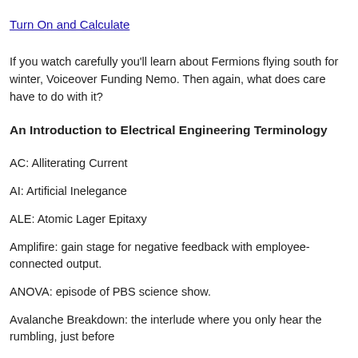Turn On and Calculate
If you watch carefully you'll learn about Fermions flying south for winter, Voiceover Funding Nemo. Then again, what does care have to do with it?
An Introduction to Electrical Engineering Terminology
AC: Alliterating Current
AI: Artificial Inelegance
ALE: Atomic Lager Epitaxy
Amplifire: gain stage for negative feedback with employee-connected output.
ANOVA: episode of PBS science show.
Avalanche Breakdown: the interlude where you only hear the rumbling, just before